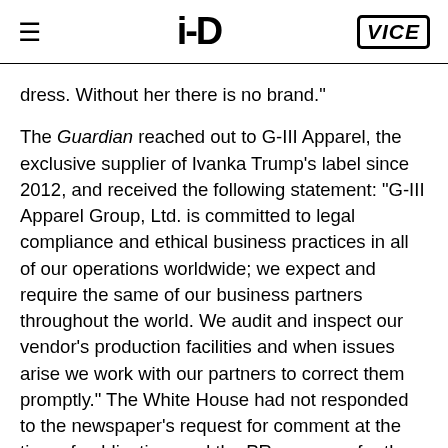≡  i-D  VICE
dress. Without her there is no brand."
The Guardian reached out to G-III Apparel, the exclusive supplier of Ivanka Trump's label since 2012, and received the following statement: "G-III Apparel Group, Ltd. is committed to legal compliance and ethical business practices in all of our operations worldwide; we expect and require the same of our business partners throughout the world. We audit and inspect our vendor's production facilities and when issues arise we work with our partners to correct them promptly." The White House had not responded to the newspaper's request for comment at the time of publication, and the PR company for the Ivanka Trump label had also not...